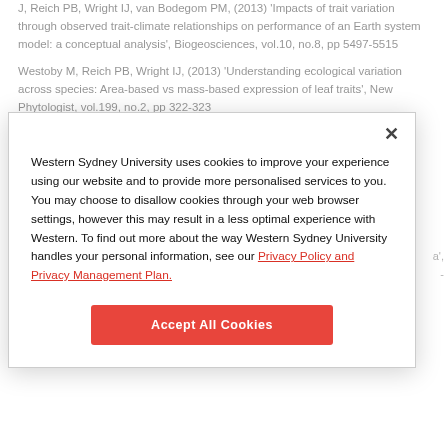J, Reich PB, Wright IJ, van Bodegom PM, (2013) 'Impacts of trait variation through observed trait-climate relationships on performance of an Earth system model: a conceptual analysis', Biogeosciences, vol.10, no.8, pp 5497-5515
Westoby M, Reich PB, Wright IJ, (2013) 'Understanding ecological variation across species: Area-based vs mass-based expression of leaf traits', New Phytologist, vol.199, no.2, pp 322-323
Wright A, Schnitzer SA, Dickie IA, Gunderson AR, Pinter GA, Mangan...
Western Sydney University uses cookies to improve your experience using our website and to provide more personalised services to you. You may choose to disallow cookies through your web browser settings, however this may result in a less optimal experience with Western. To find out more about the way Western Sydney University handles your personal information, see our Privacy Policy and Privacy Management Plan.